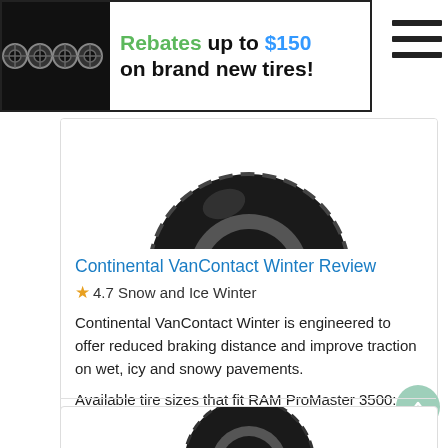[Figure (infographic): Promotional banner with tire images and text: Rebates up to $150 on brand new tires!]
[Figure (photo): Continental VanContact Winter tire, black, top portion visible, on white background]
Continental VanContact Winter Review
★ 4.7 Snow and Ice Winter
Continental VanContact Winter is engineered to offer reduced braking distance and improve traction on wet, icy and snowy pavements.
Available tire sizes that fit RAM ProMaster 3500:
225/75R16C from $193.97
[Figure (photo): Second tire image partial visible at bottom of page]